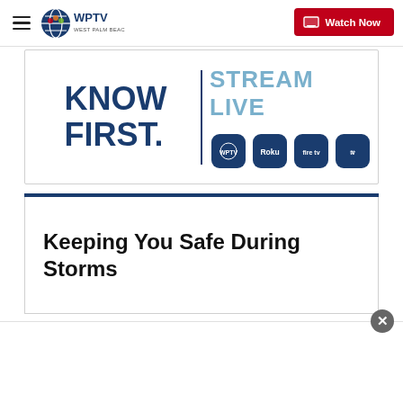WPTV — Watch Now
[Figure (screenshot): WPTV news website banner with 'KNOW FIRST.' on the left, a vertical divider, 'STREAM LIVE' on the right with streaming platform icons (WPTV, Roku, Fire TV, Apple TV)]
Keeping You Safe During Storms
[Figure (other): White advertisement bar at the bottom of the page with a close (X) button]